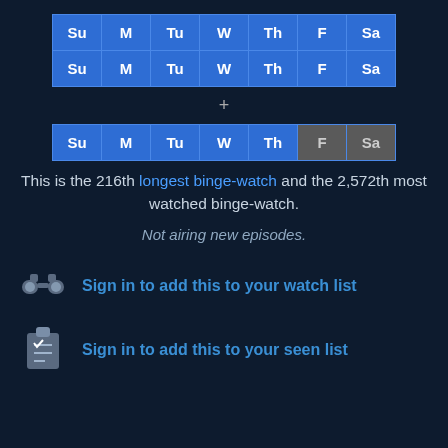| Su | M | Tu | W | Th | F | Sa |
| --- | --- | --- | --- | --- | --- | --- |
| Su | M | Tu | W | Th | F | Sa |
+
| Su | M | Tu | W | Th | F | Sa |
| --- | --- | --- | --- | --- | --- | --- |
This is the 216th longest binge-watch and the 2,572th most watched binge-watch.
Not airing new episodes.
Sign in to add this to your watch list
Sign in to add this to your seen list